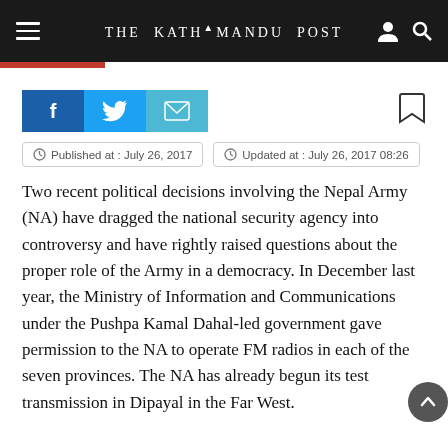THE KATHMANDU POST
[Figure (other): Social share buttons: Facebook (f), Twitter (bird), Email (envelope), and a bookmark icon]
Published at : July 26, 2017   Updated at : July 26, 2017 08:26
Two recent political decisions involving the Nepal Army (NA) have dragged the national security agency into controversy and have rightly raised questions about the proper role of the Army in a democracy. In December last year, the Ministry of Information and Communications under the Pushpa Kamal Dahal-led government gave permission to the NA to operate FM radios in each of the seven provinces. The NA has already begun its test transmission in Dipayal in the Far West.